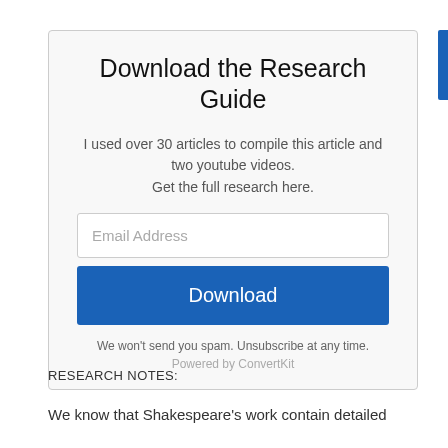Download the Research Guide
I used over 30 articles to compile this article and two youtube videos. Get the full research here.
Email Address
Download
We won't send you spam. Unsubscribe at any time.
Powered by ConvertKit
RESEARCH NOTES:
We know that Shakespeare's work contain detailed